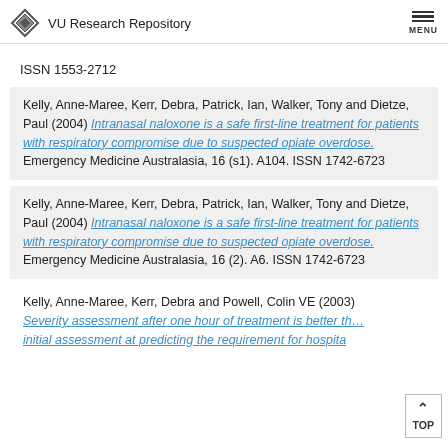VU Research Repository
ISSN 1553-2712
Kelly, Anne-Maree, Kerr, Debra, Patrick, Ian, Walker, Tony and Dietze, Paul (2004) Intranasal naloxone is a safe first-line treatment for patients with respiratory compromise due to suspected opiate overdose. Emergency Medicine Australasia, 16 (s1). A104. ISSN 1742-6723
Kelly, Anne-Maree, Kerr, Debra, Patrick, Ian, Walker, Tony and Dietze, Paul (2004) Intranasal naloxone is a safe first-line treatment for patients with respiratory compromise due to suspected opiate overdose. Emergency Medicine Australasia, 16 (2). A6. ISSN 1742-6723
Kelly, Anne-Maree, Kerr, Debra and Powell, Colin VE (2003) Severity assessment after one hour of treatment is better than initial assessment at predicting the requirement for hospita